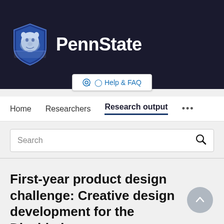[Figure (logo): Penn State university logo with lion shield and PennState wordmark on dark navy background]
Help & FAQ
Home   Researchers   Research output   ...
Search
First-year product design challenge: Creative design development for the Disabled